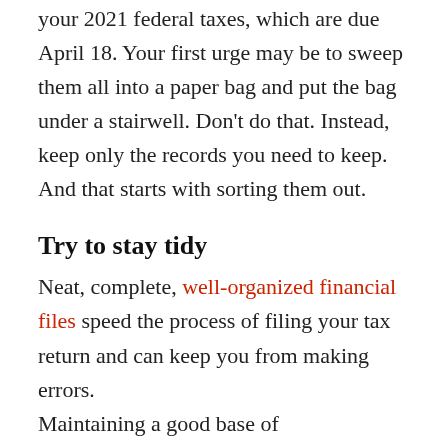your 2021 federal taxes, which are due April 18. Your first urge may be to sweep them all into a paper bag and put the bag under a stairwell. Don't do that. Instead, keep only the records you need to keep. And that starts with sorting them out.
Try to stay tidy
Neat, complete, well-organized financial files speed the process of filing your tax return and can keep you from making errors.
Maintaining a good base of